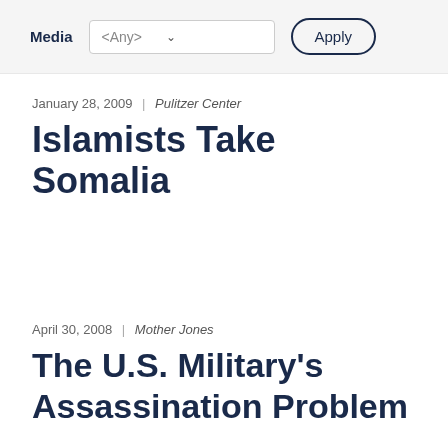[Figure (screenshot): Filter bar with Media label, dropdown showing <Any>, and Apply button]
January 28, 2009 | Pulitzer Center
Islamists Take Somalia
April 30, 2008 | Mother Jones
The U.S. Military's Assassination Problem